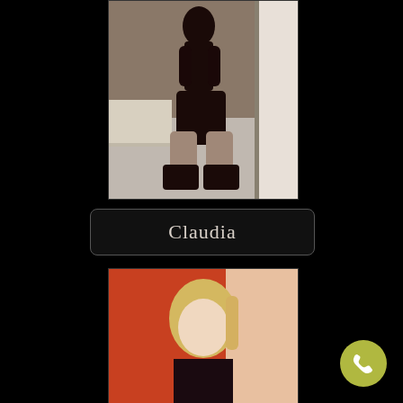[Figure (photo): Woman in black lingerie kneeling on floor near window, viewed from front/side angle]
Claudia
[Figure (photo): Blonde woman in dark lingerie with hand behind head, warm reddish background]